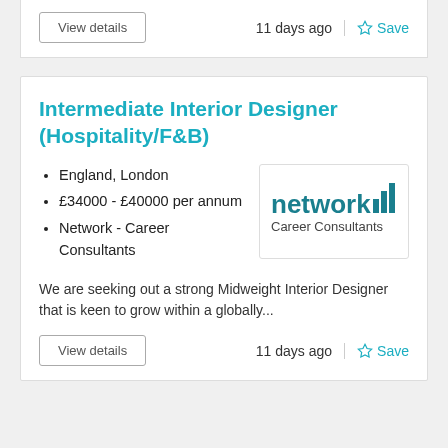View details   11 days ago   Save
Intermediate Interior Designer (Hospitality/F&B)
England, London
£34000 - £40000 per annum
Network - Career Consultants
[Figure (logo): Network Career Consultants logo — 'network' in bold dark teal with chevron symbol, 'Career Consultants' below in smaller text]
We are seeking out a strong Midweight Interior Designer that is keen to grow within a globally...
View details   11 days ago   Save